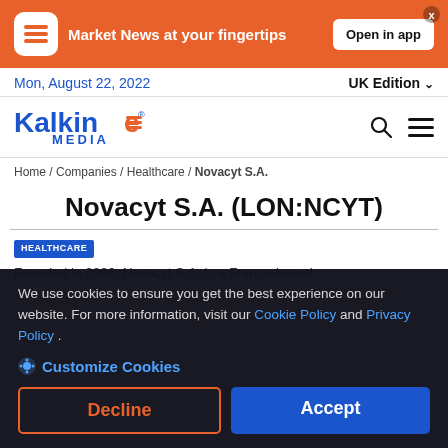[Figure (screenshot): Kalkine Media app promotional banner with orange background, app icon, text 'Market News at your fingertips', and 'Open in app' button]
Mon, August 22, 2022   UK Edition
[Figure (logo): Kalkine Media logo in blue and orange with search and menu icons]
Home / Companies / Healthcare / Novacyt S.A.
Novacyt S.A. (LON:NCYT)
HEALTHCARE
Founded in 2006, Novacyt S.A. is a France-based comprehensive diagnostic solution provider, engaged in manufacturing, diagnostic and pathogen testing based on molecular technologies. Its products have application across...
We use cookies to ensure you get the best experience on our website. For more information, visit our Cookie Policy and Privacy Policy.
Customize Cookies
Decline
Accept